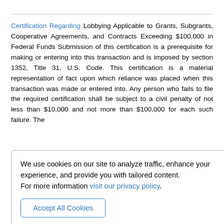Certification Regarding Lobbying Applicable to Grants, Subgrants, Cooperative Agreements, and Contracts Exceeding $100,000 in Federal Funds Submission of this certification is a prerequisite for making or entering into this transaction and is imposed by section 1352, Title 31, U.S. Code. This certification is a material representation of fact upon which reliance was placed when this transaction was made or entered into. Any person who fails to file the required certification shall be subject to a civil penalty of not less than $10,000 and not more than $100,000 for each such failure. The
We use cookies on our site to analyze traffic, enhance your experience, and provide you with tailored content.
For more information visit our privacy policy.
[Accept All Cookies button]
the making of a Federal grant, the making of a Federal